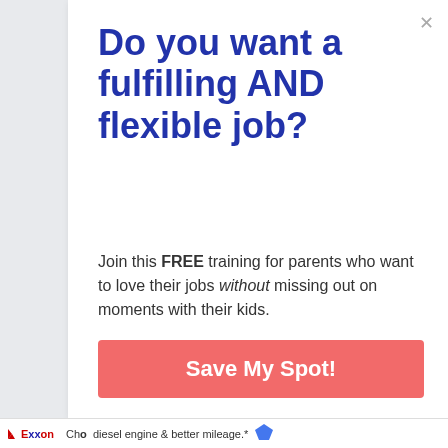Do you want a fulfilling AND flexible job?
Join this FREE training for parents who want to love their jobs without missing out on moments with their kids.
Save My Spot!
Cho diesel engine & better mileage.*